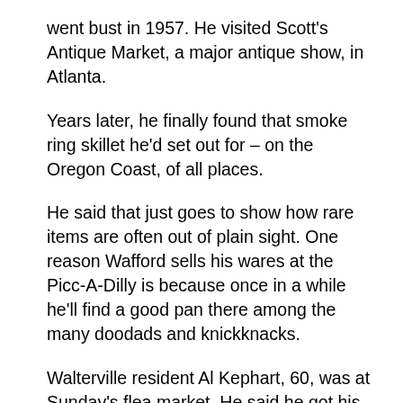went bust in 1957. He visited Scott's Antique Market, a major antique show, in Atlanta.
Years later, he finally found that smoke ring skillet he'd set out for – on the Oregon Coast, of all places.
He said that just goes to show how rare items are often out of plain sight. One reason Wafford sells his wares at the Picc-A-Dilly is because once in a while he'll find a good pan there among the many doodads and knickknacks.
Walterville resident Al Kephart, 60, was at Sunday's flea market. He said he got his first piece of cast iron from Wafford about a year ago.
“He kept me coming back,” Kephart said. “Cast iron lasts forever and it's easy to take care of and